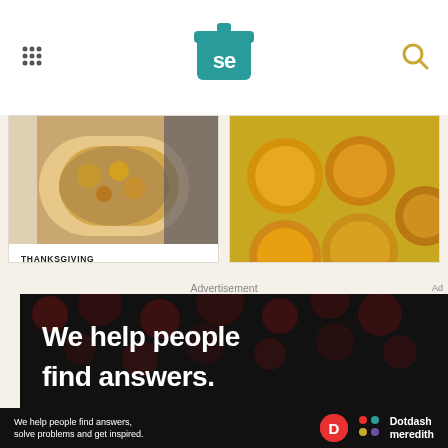Serious Eats
[Figure (photo): Photo of classic sage and sausage stuffing in a bowl]
THANKSGIVING
Classic Sage and Sausage Stuffing (Dressing) Recipe
By J. Kenji López-Alt
[Figure (photo): Photo of rapid rolls (golden baked rolls in a pan with butter)]
ROLLS & BUNS
Rapid Rolls From 'Kitchen Confidence'
By Kate Williams
Advertisement
[Figure (photo): Advertisement banner: We help people find answers.]
We help people find answers, solve problems and get inspired.